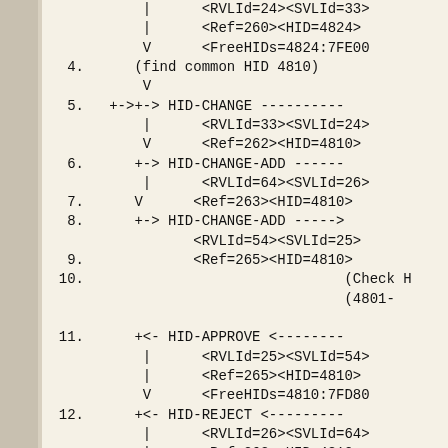| <RVLId=24><SVLId=33>
| <Ref=260><HID=4824>
V <FreeHIDs=4824:7FE00
4. (find common HID 4810)
V
5. +->+-> HID-CHANGE ---------
| <RVLId=33><SVLId=24>
V <Ref=262><HID=4810>
6. +-> HID-CHANGE-ADD -----
| <RVLId=64><SVLId=26>
7. V <Ref=263><HID=4810>
8. +-> HID-CHANGE-ADD ---->
<RVLId=54><SVLId=25>
9. <Ref=265><HID=4810>
10. (Check H
(4801-

11. +<- HID-APPROVE <--------
| <RVLId=25><SVLId=54>
| <Ref=265><HID=4810>
V <FreeHIDs=4810:7FD80
12. +<- HID-REJECT <--------
| <RVLId=26><SVLId=64>
| <Ref=263><HID=4810>
V <FreeHIDs=4810:7F000